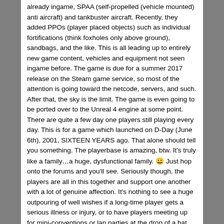already ingame, SPAA (self-propelled (vehicle mounted) anti aircraft) and tankbuster aircraft. Recently, they added PPOs (player placed objects) such as individual fortifications (think foxholes only above ground), sandbags, and the like. This is all leading up to entirely new game content, vehicles and equipment not seen ingame before. The game is due for a summer 2017 release on the Steam game service, so most of the attention is going toward the netcode, servers, and such. After that, the sky is the limit. The game is even going to be ported over to the Unreal 4 engine at some point. There are quite a few day one players still playing every day. This is for a game which launched on D-Day (June 6th), 2001, SIXTEEN YEARS ago. That alone should tell you something. The playerbase is amazing, btw. It's truly like a family…a huge, dysfunctional family. 😀 Just hop onto the forums and you'll see. Seriously though, the players are all in this together and support one another with a lot of genuine affection. It's nothing to see a huge outpouring of well wishes if a long-time player gets a serious illness or injury, or to have players meeting up for mini-conventions or lan parties at the drop of a hat. When